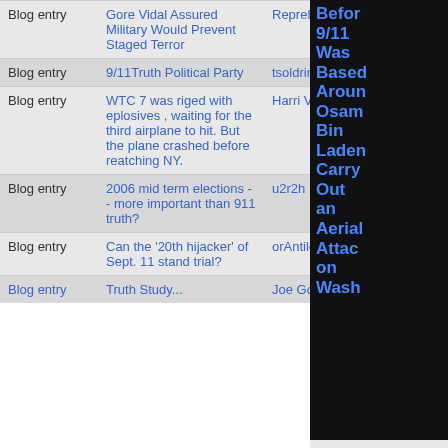| Type | Title | Author | Replies |
| --- | --- | --- | --- |
| Blog entry | Gore Vidal Assured Military Would Prevent Staged Terror | Reprehensor |  |
| Blog entry | 9/11Truth Political Party | tsoldrin | 3 |
| Blog entry | WTC 7 was riged with eplosives , waiting for the third airplane to hit. But the plane crashed before reatching NY. | Harri Vitikainen | 1 |
| Blog entry | 2006 mid term elections -- more important than 911 truth? | u2r2h | 3 |
| Blog entry | Can the '20th hijacker' of Sept. 11 stand trial? | orAntilogic | 4 |
| Blog entry | Truth Study... | Joe Golden... | 22 |
Before 9/11 Was Based Around Osama Bin Laden Carry Out an Aerial Attack on Wash
receives no corporate rely on your support.
2006-10-25 0
time: 2006-10-25 1
[Figure (other): Orange Donate button]
hly: 2006-10-25